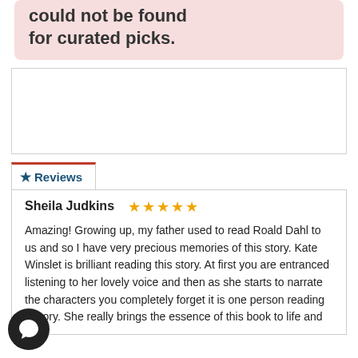could not be found for curated picks.
★ Reviews
Sheila Judkins ★★★★★
Amazing! Growing up, my father used to read Roald Dahl to us and so I have very precious memories of this story. Kate Winslet is brilliant reading this story. At first you are entranced listening to her lovely voice and then as she starts to narrate the characters you completely forget it is one person reading a story. She really brings the essence of this book to life and